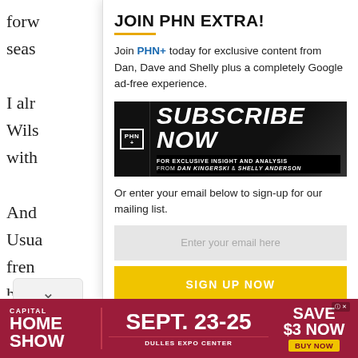forw
seas
I alr
Wils
with
And
Usua
fren
had
play
JOIN PHN EXTRA!
Join PHN+ today for exclusive content from Dan, Dave and Shelly plus a completely Google ad-free experience.
[Figure (infographic): PHN+ Subscribe Now banner - black background with bold white italic text 'SUBSCRIBE NOW' and subtext 'FOR EXCLUSIVE INSIGHT AND ANALYSIS FROM DAN KINGERSKI & SHELLY ANDERSON']
Or enter your email below to sign-up for our mailing list.
Enter your email here
SIGN UP NOW
[Figure (infographic): Capital Home Show advertisement - dark red/maroon background. Left: CAPITAL HOME SHOW in white bold text. Center: SEPT. 23-25 in large bold dark red on pink, DULLES EXPO CENTER below. Right: SAVE $3 NOW in white bold text, BUY NOW yellow button.]